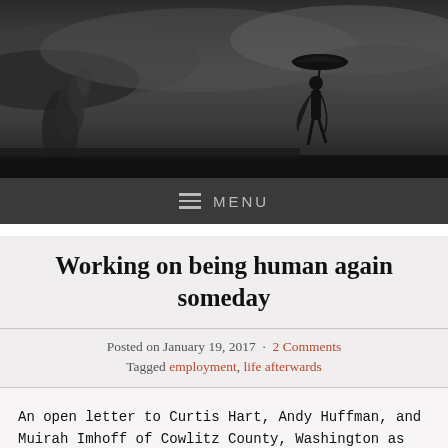[Figure (photo): Black and white dramatic stormy sky with a silhouetted person holding an umbrella in the wind]
≡ MENU
Working on being human again someday
Posted on January 19, 2017 · 2 Comments
Tagged employment, life afterwards
An open letter to Curtis Hart, Andy Huffman, and Muirah Imhoff of Cowlitz County, Washington as well as Irma Ybarra-Hill and Paula Brownhill of Clatsop County, Oregon:
I have been writing and re-writing this letter for a long time now. I plan to send it and post it as many times as it takes to draw awareness for this issue. While I am the subject